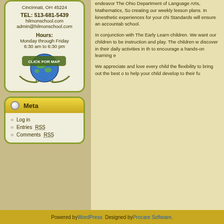Cincinnati, OH 45224
TEL: 513-681-5439
hilmonschool.com
admin@hilmonschool.com
Hours:
Monday through Friday
6:30 am to 6:30 pm
[Figure (illustration): Globe with 'CLICK FOR MAP' text and decorative arrows]
Meta
Log in
Entries RSS
Comments RSS
endeavor The Ohio Department of Language Arts, Mathematics, So creating our weekly lesson plans. In kinesthetic experiences for your chi Standards will ensure an accountab school.
In conjunction with The Early Learn children. We want our children to be instruction and play. The children w discover in their daily activities in th to encourage a hands-on learning e
We appreciate and love every child the flexibility to bring out the best o to help your child develop to their fu
Powered by WordPress Designed by Procare Software.